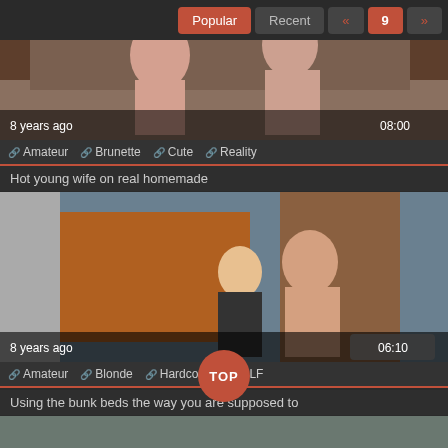Popular | Recent | « | 9 | »
[Figure (photo): Video thumbnail showing two women on a bed, bedroom scene. Timestamp: 8 years ago, duration 08:00]
Amateur  Brunette  Cute  Reality
Hot young wife on real homemade
[Figure (photo): Video thumbnail showing a couple in a room, standing scene. Timestamp: 8 years ago, duration 06:10]
Amateur  Blonde  Hardcore  MILF
TOP
Using the bunk beds the way you are supposed to